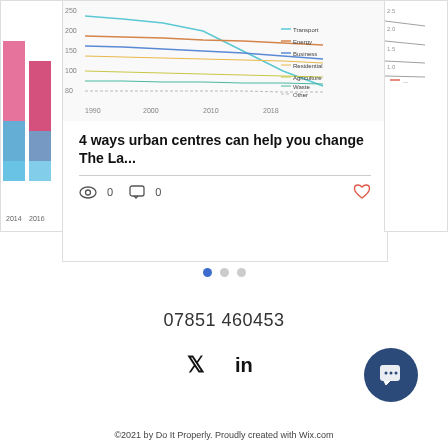[Figure (other): Partial bar chart visible on the left edge of the page]
[Figure (continuous-plot): Line chart showing multiple trend lines (Transport, Energy, Business, Agriculture, Waste, Other) from approximately 1990 to 2018, with values ranging from roughly 80 to 250]
[Figure (other): Partial chart visible on the right edge of the page]
4 ways urban centres can help you change The La...
0  0
07851 460453
[Figure (other): Twitter and LinkedIn social media icons]
[Figure (other): Dark blue circular chat button with speech bubble icon]
©2021 by Do It Properly. Proudly created with Wix.com